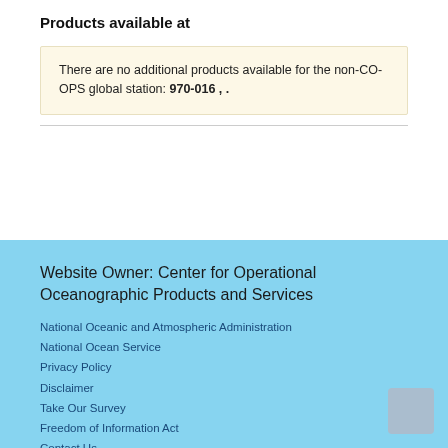Products available at
There are no additional products available for the non-CO-OPS global station: 970-016 , .
Website Owner: Center for Operational Oceanographic Products and Services
National Oceanic and Atmospheric Administration
National Ocean Service
Privacy Policy
Disclaimer
Take Our Survey
Freedom of Information Act
Contact Us